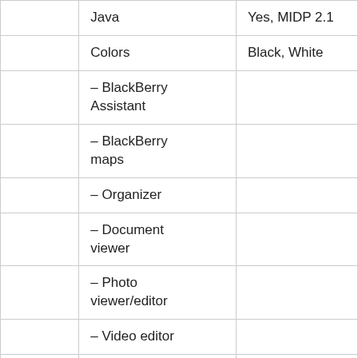|  |  |  |
| --- | --- | --- |
|  | Java | Yes, MIDP 2.1 |
|  | Colors | Black, White |
|  | – BlackBerry Assistant |  |
|  | – BlackBerry maps |  |
|  | – Organizer |  |
|  | – Document viewer |  |
|  | – Photo viewer/editor |  |
|  | – Video editor |  |
|  | – MP3/WMA/WAV/eAAC+/FLAC player |  |